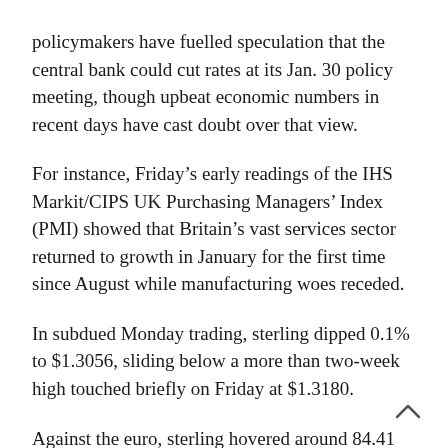policymakers have fuelled speculation that the central bank could cut rates at its Jan. 30 policy meeting, though upbeat economic numbers in recent days have cast doubt over that view.
For instance, Friday's early readings of the IHS Markit/CIPS UK Purchasing Managers' Index (PMI) showed that Britain's vast services sector returned to growth in January for the first time since August while manufacturing woes receded.
In subdued Monday trading, sterling dipped 0.1% to $1.3056, sliding below a more than two-week high touched briefly on Friday at $1.3180.
Against the euro, sterling hovered around 84.41 pence, broadly steady on the day.
“This (BoE) meeting follows a run of fairly weak economic